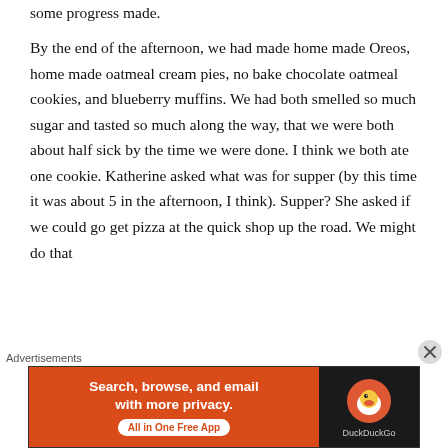some progress made.
By the end of the afternoon, we had made home made Oreos, home made oatmeal cream pies, no bake chocolate oatmeal cookies, and blueberry muffins. We had both smelled so much sugar and tasted so much along the way, that we were both about half sick by the time we were done. I think we both ate one cookie. Katherine asked what was for supper (by this time it was about 5 in the afternoon, I think). Supper? She asked if we could go get pizza at the quick shop up the road. We might do that
Advertisements — DuckDuckGo: Search, browse, and email with more privacy. All in One Free App